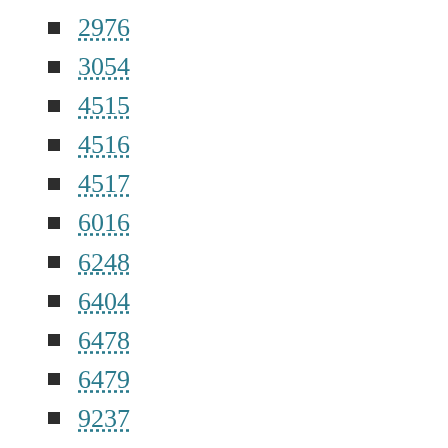2976
3054
4515
4516
4517
6016
6248
6404
6478
6479
9237
9569
9669
9677
Uncategorized